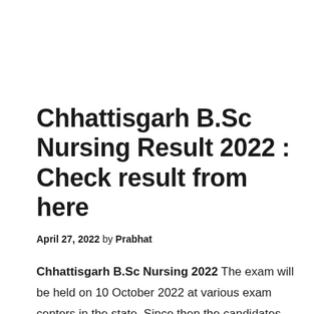Chhattisgarh B.Sc Nursing Result 2022 : Check result from here
April 27, 2022 by Prabhat
Chhattisgarh B.Sc Nursing 2022 The exam will be held on 10 October 2022 at various exam centers in the state. Since then the candidates have to Chhattisgarh B.Sc Nursing Result 2022 Awaits. Pre B.Sc Nursing The examination is